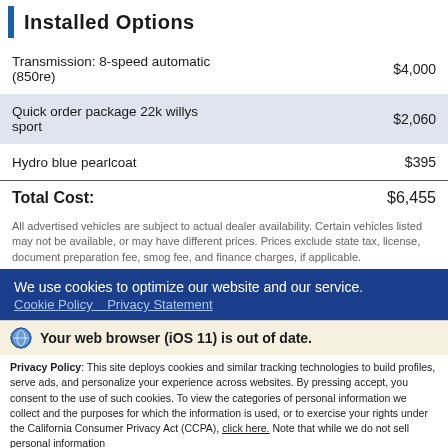Installed Options
| Option | Price |
| --- | --- |
| Transmission: 8-speed automatic (850re) | $4,000 |
| Quick order package 22k willys sport | $2,060 |
| Hydro blue pearlcoat | $395 |
Total Cost:  $6,455
All advertised vehicles are subject to actual dealer availability. Certain vehicles listed may not be available, or may have different prices. Prices exclude state tax, license, document preparation fee, smog fee, and finance charges, if applicable.
We use cookies to optimize our website and our service.
Cookie Policy   Privacy Statement
Your web browser (iOS 11) is out of date.
Privacy Policy: This site deploys cookies and similar tracking technologies to build profiles, serve ads, and personalize your experience across websites. By pressing accept, you consent to the use of such cookies. To view the categories of personal information we collect and the purposes for which the information is used, or to exercise your rights under the California Consumer Privacy Act (CCPA), click here. Note that while we do not sell personal information